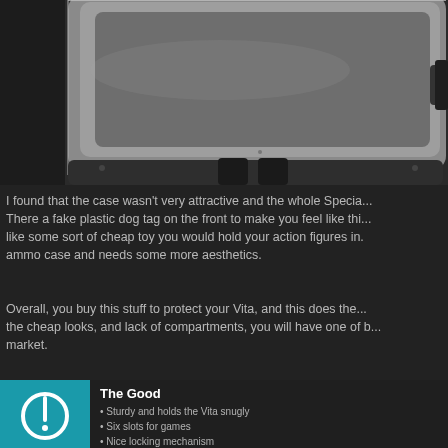[Figure (photo): Close-up photo of a gray/silver plastic protective case for a gaming device (PlayStation Vita), showing the top edge and corner with rubber feet, on a dark background.]
I found that the case wasn't very attractive and the whole Specia... There a fake plastic dog tag on the front to make you feel like thi... like some sort of cheap toy you would hold your action figures in. ammo case and needs some more aesthetics.
Overall, you buy this stuff to protect your Vita, and this does the... the cheap looks, and lack of compartments, you will have one of b... market.
The Good
Sturdy and holds the Vita snugly
Six slots for games
Nice locking mechanism